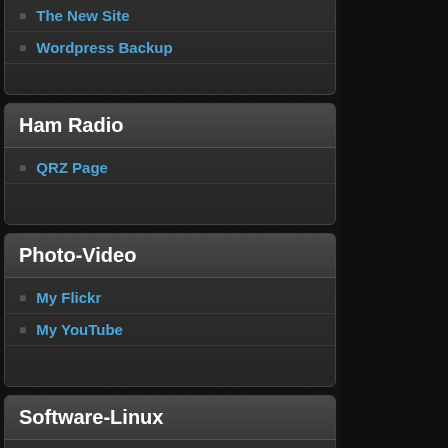The New Site
Wordpress Backup
Ham Radio
QRZ Page
Photo-Video
My Flickr
My YouTube
Software-Linux
Linux DistroWatch
Random Posts: